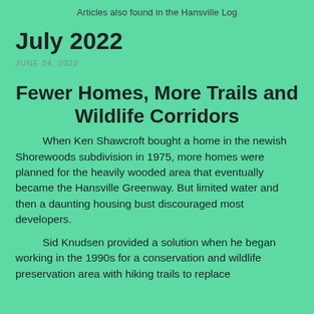Articles also found in the Hansville Log
July 2022
JUNE 24, 2022
Fewer Homes, More Trails and Wildlife Corridors
When Ken Shawcroft bought a home in the newish Shorewoods subdivision in 1975, more homes were planned for the heavily wooded area that eventually became the Hansville Greenway. But limited water and then a daunting housing bust discouraged most developers.
Sid Knudsen provided a solution when he began working in the 1990s for a conservation and wildlife preservation area with hiking trails to replace